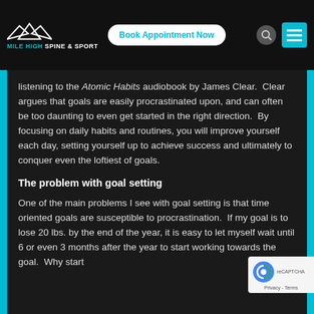[Figure (logo): Mile High Spine & Sport logo with mountain peaks icon and teal/white text]
Book Appointment Now
listening to the Atomic Habits audiobook by James Clear.  Clear argues that goals are easily procrastinated upon, and can often be too daunting to even get started in the right direction.  By focusing on daily habits and routines, you will improve yourself each day, setting yourself up to achieve success and ultimately to conquer even the loftiest of goals.
The problem with goal setting
One of the main problems I see with goal setting is that time oriented goals are susceptible to procrastination.  If my goal is to lose 20 lbs. by the end of the year, it is easy to let myself wait until 6 or even 3 months after the year to start working towards the goal.  Why start